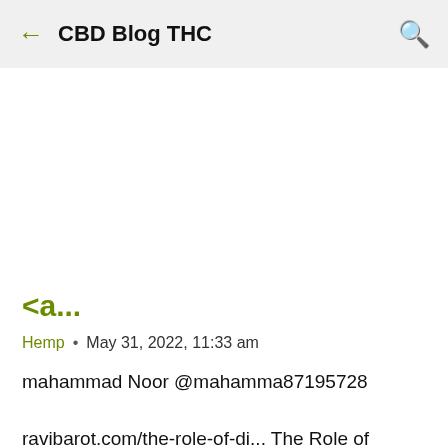← CBD Blog THC 🔍
<a...
Hemp · May 31, 2022, 11:33 am
mahammad Noor @mahamma87195728

ravibarot.com/the-role-of-di... The Role of Digital Marketing in a Hemp Boxes Business The role of digital marketing in the hemp boxes business is not so apparent